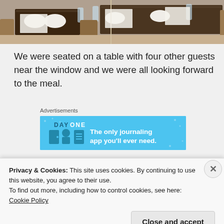[Figure (photo): Restaurant interior showing dark wooden tables and chairs with plates and glasses, near a window]
We were seated on a table with four other guests near the window and we were all looking forward to the meal.
[Figure (infographic): Advertisement banner for Day One journaling app — light blue background with app icons and text 'The only journaling app you'll ever need.']
[Figure (photo): Photo showing a Ruby & Roz (or similar) branded card/menu on a wooden table surface]
Privacy & Cookies: This site uses cookies. By continuing to use this website, you agree to their use.
To find out more, including how to control cookies, see here: Cookie Policy
Close and accept